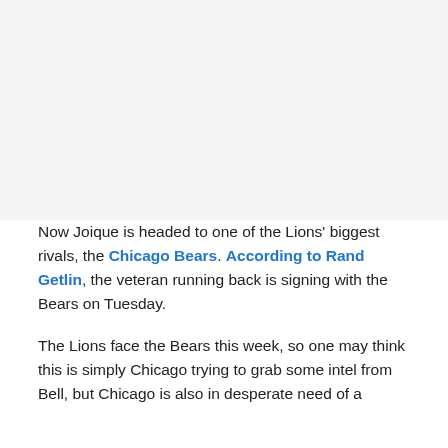[Figure (photo): Placeholder image area at top of page]
Now Joique is headed to one of the Lions' biggest rivals, the Chicago Bears. According to Rand Getlin, the veteran running back is signing with the Bears on Tuesday.
The Lions face the Bears this week, so one may think this is simply Chicago trying to grab some intel from Bell, but Chicago is also in desperate need of a